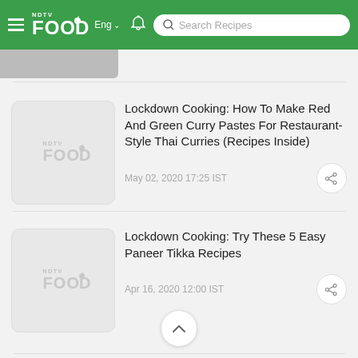NDTV Food – Search Recipes
[Figure (screenshot): Partially visible article thumbnail at the top of the page]
Lockdown Cooking: How To Make Red And Green Curry Pastes For Restaurant-Style Thai Curries (Recipes Inside)
May 02, 2020 17:25 IST
Lockdown Cooking: Try These 5 Easy Paneer Tikka Recipes
Apr 16, 2020 12:00 IST